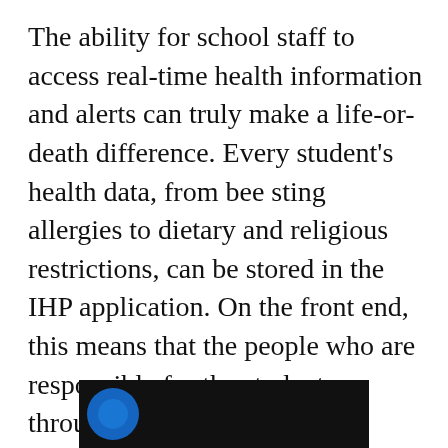The ability for school staff to access real-time health information and alerts can truly make a life-or-death difference. Every student's health data, from bee sting allergies to dietary and religious restrictions, can be stored in the IHP application. On the front end, this means that the people who are responsible for the student throughout the day can make instantaneous decisions based on what they see. Watch this video for a humbling reminder of just how important that kind of visibility can be:
[Figure (screenshot): Video thumbnail showing partial view of a dark/black background with a blue circular element visible at the left edge]